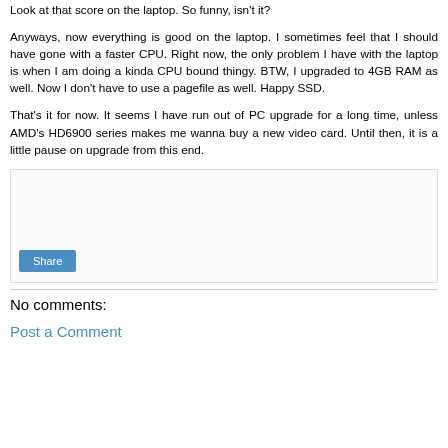Look at that score on the laptop. So funny, isn't it?
Anyways, now everything is good on the laptop. I sometimes feel that I should have gone with a faster CPU. Right now, the only problem I have with the laptop is when I am doing a kinda CPU bound thingy. BTW, I upgraded to 4GB RAM as well. Now I don't have to use a pagefile as well. Happy SSD.
That's it for now. It seems I have run out of PC upgrade for a long time, unless AMD's HD6900 series makes me wanna buy a new video card. Until then, it is a little pause on upgrade from this end.
Share
No comments:
Post a Comment